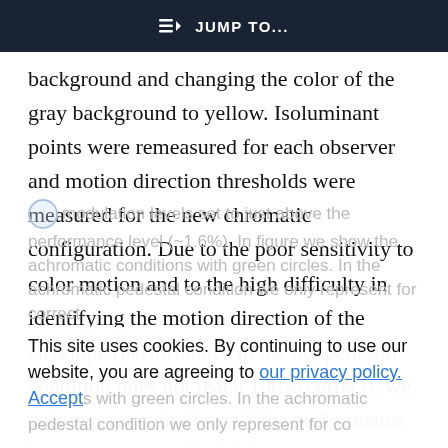JUMP TO...
background and changing the color of the gray background to yellow. Isoluminant points were remeasured for each observer and motion direction thresholds were measured for the new chromatic configuration. Due to the poor sensitivity to color motion and to the high difficulty in identifying the motion direction of the envelope (performance in the nonpedestal condition does not reach 100% correct), we only represent in Figure 7 the performance in percent correct for high contrast
modulation levels set to just above the performance (approximately 1.6%). In Figure we show the achromatic conditions with green circles. In the achromatic pedestal condition we only represent for correct
This site uses cookies. By continuing to use our website, you are agreeing to our privacy policy. Accept